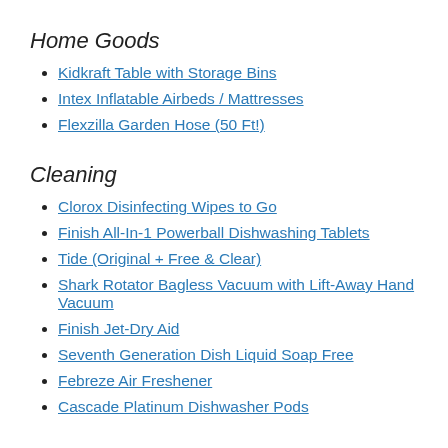Home Goods
Kidkraft Table with Storage Bins
Intex Inflatable Airbeds / Mattresses
Flexzilla Garden Hose (50 Ft!)
Cleaning
Clorox Disinfecting Wipes to Go
Finish All-In-1 Powerball Dishwashing Tablets
Tide (Original + Free & Clear)
Shark Rotator Bagless Vacuum with Lift-Away Hand Vacuum
Finish Jet-Dry Aid
Seventh Generation Dish Liquid Soap Free
Febreze Air Freshener
Cascade Platinum Dishwasher Pods